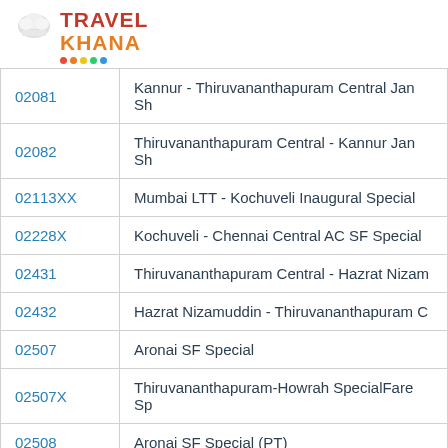[Figure (logo): TravelKhana logo with chef hat icon, red TRAVEL text, orange KHANA text, and colored dots underline]
| Train No | Train Name |
| --- | --- |
| 02081 | Kannur - Thiruvananthapuram Central Jan Sh |
| 02082 | Thiruvananthapuram Central - Kannur Jan Sh |
| 02113XX | Mumbai LTT - Kochuveli Inaugural Special |
| 02228X | Kochuveli - Chennai Central AC SF Special |
| 02431 | Thiruvananthapuram Central - Hazrat Nizam |
| 02432 | Hazrat Nizamuddin - Thiruvananthapuram C |
| 02507 | Aronai SF Special |
| 02507X | Thiruvananthapuram-Howrah SpecialFare Sp |
| 02508 | Aronai SF Special (PT) |
| 02511 | Gorakhpur - Kochuveli Rapti Sagar SF Festiv |